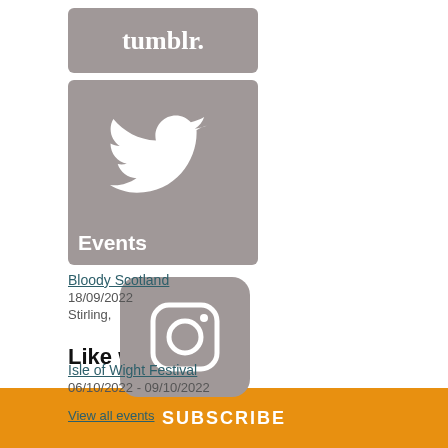[Figure (logo): Tumblr logo — grey rounded rectangle with white bold text 'tumblr.']
[Figure (logo): Twitter bird icon inside grey rounded rectangle with 'Events' label in white]
Bloody Scotland
18/09/2022
Stirling,
[Figure (logo): Instagram camera icon inside grey rounded rectangle]
Isle of Wight Festival
06/10/2022 - 09/10/2022
View all events
Like what I do?
SUBSCRIBE